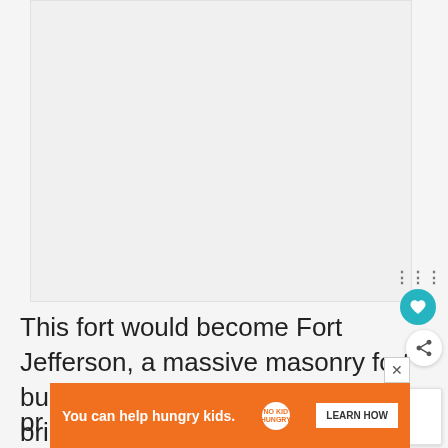[Figure (photo): Large light gray empty image placeholder area at top of page]
This fort would become Fort Jefferson, a massive masonry fort built with 16 million individual bricks. The fort was never actually finished, and lightly used (mostly to house a few high-profile pr...
[Figure (other): What's Next promotional box with thumbnail image of a road/bridge and text 'The Ultimate 7-Day Florid...']
[Figure (other): Advertisement banner: 'You can help hungry kids. NO KID HUNGRY LEARN HOW']